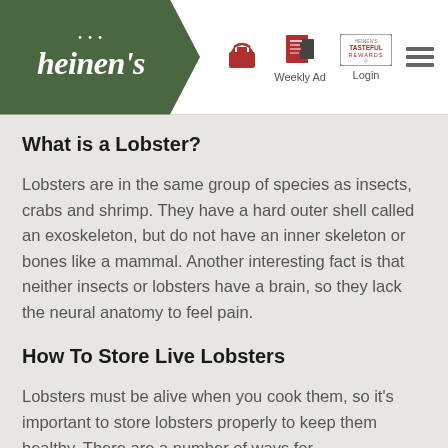[Figure (logo): Heinen's grocery store logo in green header with navigation icons: basket, Weekly Ad, Tasteful Rewards Login, and hamburger menu]
What is a Lobster?
Lobsters are in the same group of species as insects, crabs and shrimp. They have a hard outer shell called an exoskeleton, but do not have an inner skeleton or bones like a mammal. Another interesting fact is that neither insects or lobsters have a brain, so they lack the neural anatomy to feel pain.
How To Store Live Lobsters
Lobsters must be alive when you cook them, so it's important to store lobsters properly to keep them healthy. There are a number of ways for...